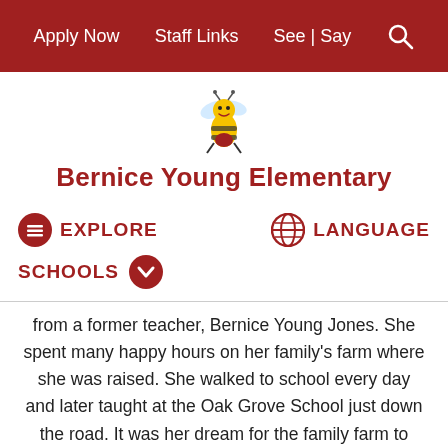Apply Now   Staff Links   See | Say
[Figure (illustration): Cartoon bee mascot — yellow and red bee character flying]
Bernice Young Elementary
EXPLORE
LANGUAGE
SCHOOLS
from a former teacher, Bernice Young Jones. She spent many happy hours on her family's farm where she was raised. She walked to school every day and later taught at the Oak Grove School just down the road. It was her dream for the family farm to someday contribute greatly to the